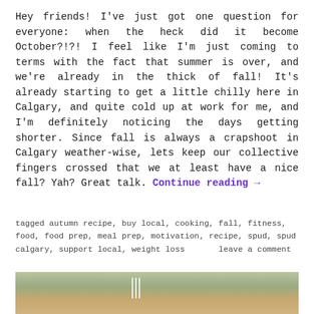Hey friends! I've just got one question for everyone: when the heck did it become October?!?! I feel like I'm just coming to terms with the fact that summer is over, and we're already in the thick of fall! It's already starting to get a little chilly here in Calgary, and quite cold up at work for me, and I'm definitely noticing the days getting shorter. Since fall is always a crapshoot in Calgary weather-wise, lets keep our collective fingers crossed that we at least have a nice fall? Yah? Great talk. Continue reading →
tagged autumn recipe, buy local, cooking, fall, fitness, food, food prep, meal prep, motivation, recipe, spud, spud calgary, support local, weight loss      leave a comment
[Figure (photo): Bottom portion of a food photo showing a plate with salad/meal and cutlery visible on left side]